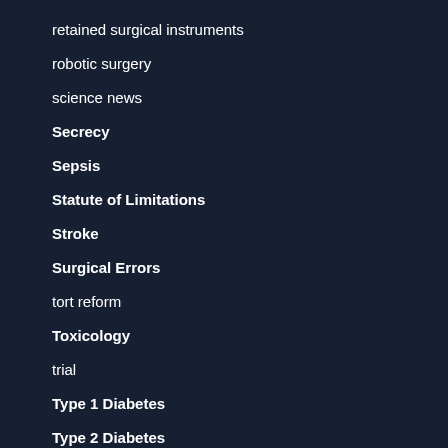retained surgical instruments
robotic surgery
science news
Secrecy
Sepsis
Statute of Limitations
Stroke
Surgical Errors
tort reform
Toxicology
trial
Type 1 Diabetes
Type 2 Diabetes
Uncategorized
Vaccines